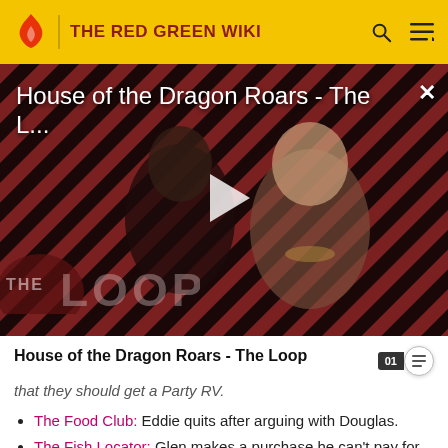THE RED GREEN WIKI
[Figure (screenshot): Video thumbnail for 'House of the Dragon Roars - The Loop' showing two characters in medieval fantasy costumes against a diagonal stripe background, with a play button in the center and 'THE LOOP' text overlay at bottom left.]
House of the Dragon Roars - The Loop
that they should get a Party RV.
The Food Club: Eddie quits after arguing with Douglas.
The Fish Locator: Glen makes a purchase he can't pay for... In money, that is.